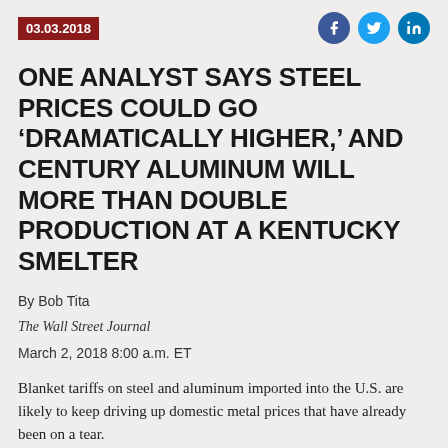03.03.2018
ONE ANALYST SAYS STEEL PRICES COULD GO 'DRAMATICALLY HIGHER,' AND CENTURY ALUMINUM WILL MORE THAN DOUBLE PRODUCTION AT A KENTUCKY SMELTER
By Bob Tita
The Wall Street Journal
March 2, 2018 8:00 a.m. ET
Blanket tariffs on steel and aluminum imported into the U.S. are likely to keep driving up domestic metal prices that have already been on a tear.
Rising prices globally and dozens of tariffs the U.S. has already applied to individual countries and products have